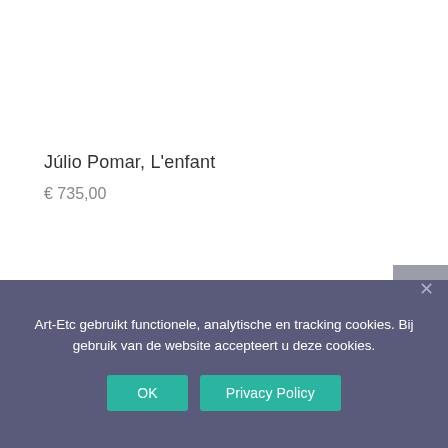Júlio Pomar, L'enfant
€ 735,00
Art-Etc gebruikt functionele, analytische en tracking cookies. Bij gebruik van de website accepteert u deze cookies.
OK
Privacy Policy